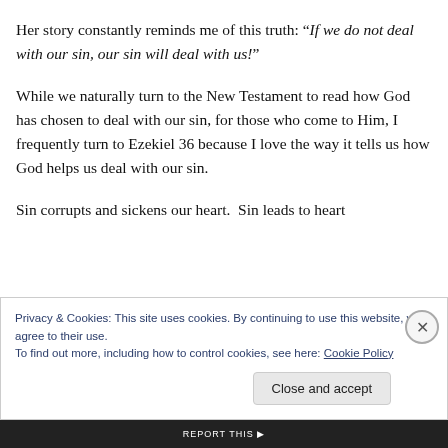Her story constantly reminds me of this truth: “If we do not deal with our sin, our sin will deal with us!”
While we naturally turn to the New Testament to read how God has chosen to deal with our sin, for those who come to Him, I frequently turn to Ezekiel 36 because I love the way it tells us how God helps us deal with our sin.
Sin corrupts and sickens our heart.  Sin leads to heart
Privacy & Cookies: This site uses cookies. By continuing to use this website, you agree to their use.
To find out more, including how to control cookies, see here: Cookie Policy
Close and accept